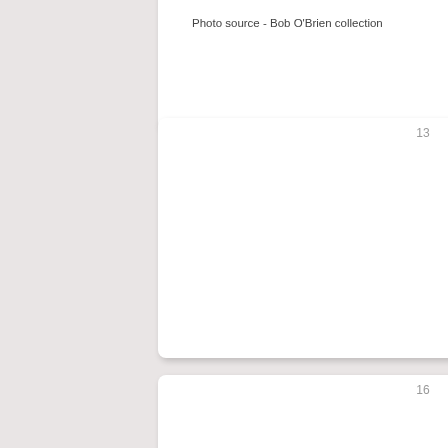where it became PK-RVL.
Photo source - Bob O'Brien collection
condition.
It had been in storage since M...
On the door is the text: Le... Seulawah.
Photo source - Henk Schak...
[Figure (other): Empty card numbered 13]
[Figure (other): Empty card numbered 14]
[Figure (other): Empty card numbered 16]
[Figure (other): Empty card numbered 17]